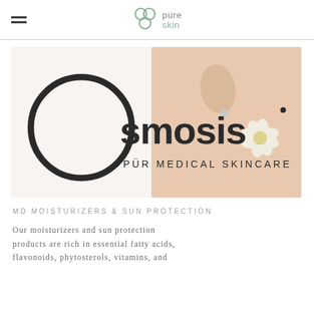pure skin (logo)
[Figure (logo): Osmosis +PUR Medical Skincare logo with brand imagery showing a woman's shoulder and a white flower]
MD MOISTURIZERS & SUN PROTECTION
Our moisturizers and sun protection products are rich in essential fatty acids, flavonoids, phytosterols, vitamins, and